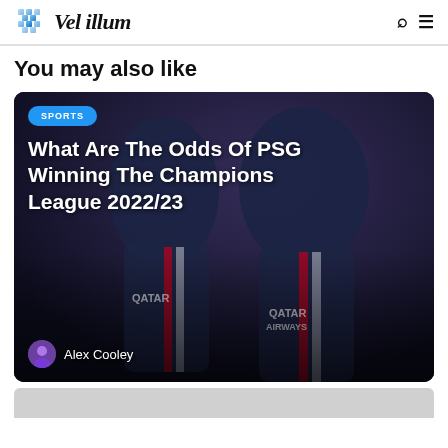Vel illum
You may also like
[Figure (photo): Two PSG football players in Qatar Airways jerseys running on a football pitch at night. Overlaid text reads 'SPORTS' badge and article title 'What Are The Odds Of PSG Winning The Champions League 2022/23' with author 'Alex Cooley'.]
Alex Cooley